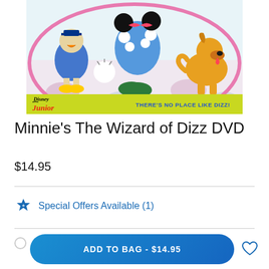[Figure (photo): DVD cover for Minnie's The Wizard of Dizz, showing Disney Junior characters including Minnie Mouse, Donald Duck, Mickey Mouse, and Pluto in colorful cartoon style. The cover has 'Disney Junior' logo and text 'THERE'S NO PLACE LIKE DIZZ!']
Minnie's The Wizard of Dizz DVD
$14.95
Special Offers Available (1)
ADD TO BAG - $14.95